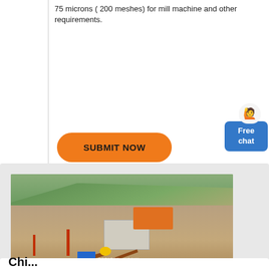75 microns ( 200 meshes) for mill machine and other requirements.
[Figure (other): Orange rounded SUBMIT NOW button]
[Figure (photo): Aerial view of a quarry or mining site with conveyor belts, red-orange crushing machinery, a concrete building, blue truck, and hillside vegetation in background. Watermark text partially visible at bottom.]
Chi...